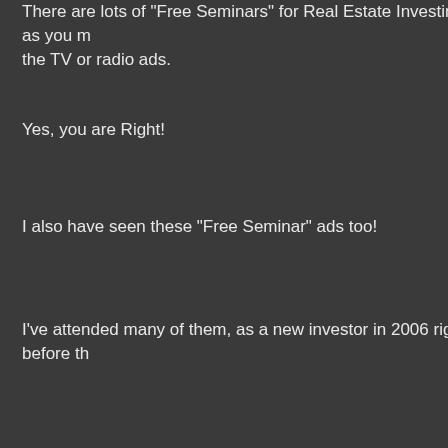There are lots of "Free Seminars" for Real Estate Investing, as you may know from the TV or radio ads.
Yes, you are Right!
I also have seen these "Free Seminar" ads too!
I've attended many of them, as a new investor in 2006 right before th...
I was ahead of the herd in foreseeing the upcoming crash that started... investment property in the melt-down, thanks to being an entreprene...
The bad news was I was ignorant when it came to real estate, I didn't... however, know a lot about building successful businesses, since I've...
So with me, you will not only learn about real estate, but you will learn... experiences of owning (3) successful debt-free businesses.
So listen up, here's what I have learned!